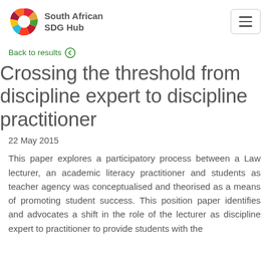South African SDG Hub
Back to results
Crossing the threshold from discipline expert to discipline practitioner
22 May 2015
This paper explores a participatory process between a Law lecturer, an academic literacy practitioner and students as teacher agency was conceptualised and theorised as a means of promoting student success. This position paper identifies and advocates a shift in the role of the lecturer as discipline expert to practitioner to provide students with the